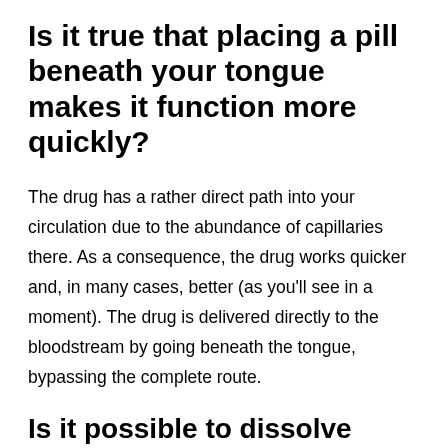Is it true that placing a pill beneath your tongue makes it function more quickly?
The drug has a rather direct path into your circulation due to the abundance of capillaries there. As a consequence, the drug works quicker and, in many cases, better (as you'll see in a moment). The drug is delivered directly to the bloodstream by going beneath the tongue, bypassing the complete route.
Is it possible to dissolve tablets in water?